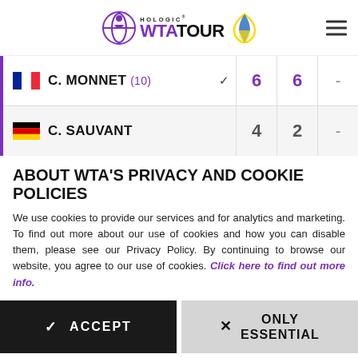HOLOGIC WTA TOUR
| Player | Set 1 | Set 2 | Set 3 |
| --- | --- | --- | --- |
| C. MONNET (10) | 6 | 6 | - |
| C. SAUVANT | 4 | 2 | - |
ABOUT WTA'S PRIVACY AND COOKIE POLICIES
We use cookies to provide our services and for analytics and marketing. To find out more about our use of cookies and how you can disable them, please see our Privacy Policy. By continuing to browse our website, you agree to our use of cookies. Click here to find out more info.
ACCEPT
ONLY ESSENTIAL